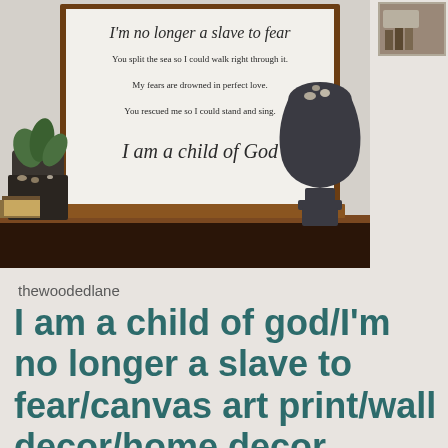[Figure (photo): Farmhouse-style wooden framed sign with script and print text reading 'I'm no longer a slave to fear / You split the sea so I could walk right through it. / My fears are drowned in perfect love. / You rescued me so I could stand and sing. / I am a child of God'. The sign is displayed on a dark wood shelf with a plant in a dark jar on the left and a dark decorative urn/pedestal on the right. A small thumbnail image of books/items appears in the top right corner.]
thewoodedlane
I am a child of god/I'm no longer a slave to fear/canvas art print/wall decor/home decor